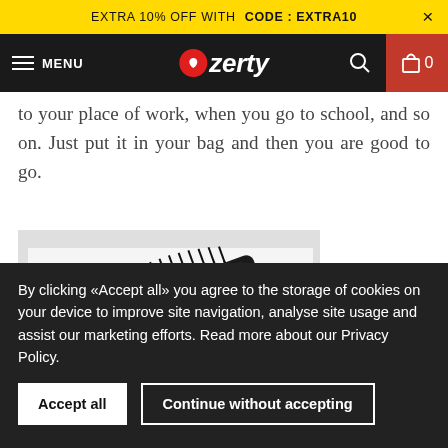EXTRA 10% OFF WITH CODE : EXTRA10
MENU | ozerty | 0
to your place of work, when you go to school, and so on. Just put it in your bag and then you are good to go.
[Figure (photo): Close-up photo of a black hair brush showing bristles at an angle against a light background]
By clicking «Accept all» you agree to the storage of cookies on your device to improve site navigation, analyse site usage and assist our marketing efforts. Read more about our Privacy Policy.
Accept all | Continue without accepting